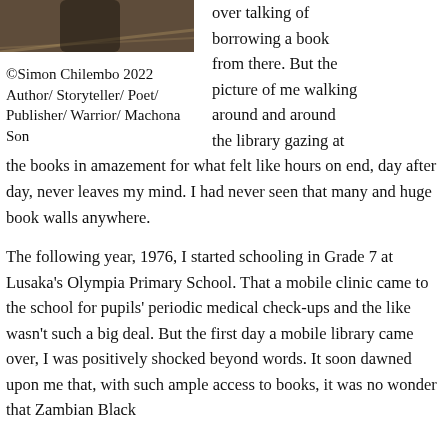[Figure (photo): Partial photo of a person, cropped at top of page, left column]
©Simon Chilembo 2022
Author/ Storyteller/ Poet/ Publisher/ Warrior/ Machona Son
over talking of borrowing a book from there. But the picture of me walking around and around the library gazing at the books in amazement for what felt like hours on end, day after day, never leaves my mind. I had never seen that many and huge book walls anywhere.
The following year, 1976, I started schooling in Grade 7 at Lusaka's Olympia Primary School. That a mobile clinic came to the school for pupils' periodic medical check-ups and the like wasn't such a big deal. But the first day a mobile library came over, I was positively shocked beyond words. It soon dawned upon me that, with such ample access to books, it was no wonder that Zambian Black